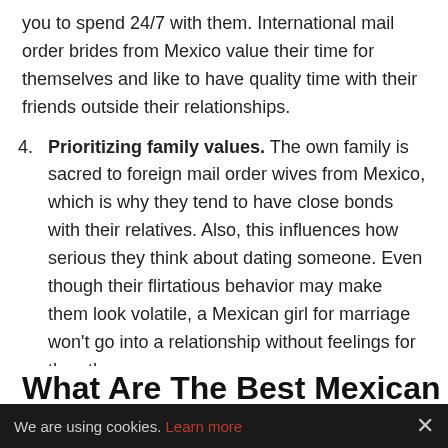you to spend 24/7 with them. International mail order brides from Mexico value their time for themselves and like to have quality time with their friends outside their relationships.
4. Prioritizing family values. The own family is sacred to foreign mail order wives from Mexico, which is why they tend to have close bonds with their relatives. Also, this influences how serious they think about dating someone. Even though their flirtatious behavior may make them look volatile, a Mexican girl for marriage won't go into a relationship without feelings for the other person.
Mexican beauties match perfectly with modern Western men, as they have qualities that they seek in women. These core traits make international brides dating from Mexico so popular.
We are using cookies. Learn more ×
What Are The Best Mexican